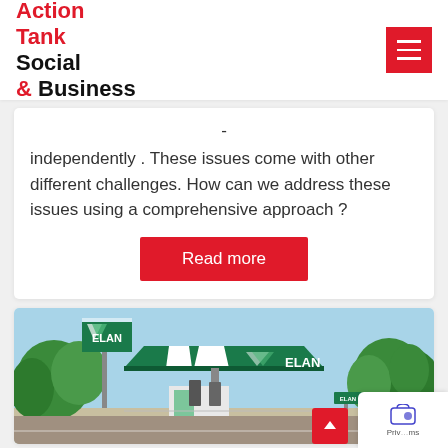Action Tank Social & Business
independently . These issues come with other different challenges. How can we address these issues using a comprehensive approach ?
Read more
[Figure (photo): ELAN gas station with green canopy and signage, surrounded by trees on a sunny day.]